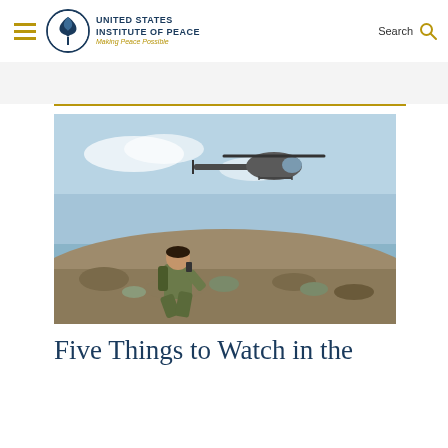United States Institute of Peace — Making Peace Possible
[Figure (photo): A soldier in combat gear crouches on rocky desert terrain and speaks into a radio while a military helicopter hovers in the sky behind him.]
Five Things to Watch in the